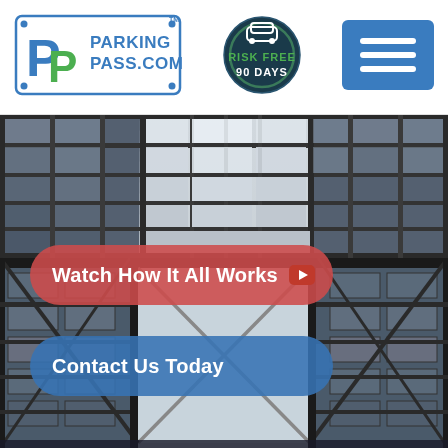[Figure (logo): ParkingPass.com logo with blue P-P letters and green accent, inside a blue border rectangle with corner dots]
[Figure (logo): Risk Free 90 Days circular badge with dark blue/green border, car icon on top, text RISK FREE and 90 DAYS]
[Figure (other): Blue hamburger menu button with three white horizontal bars]
[Figure (photo): Interior of a multi-story glass and steel parking structure or atrium, viewed from below, with geometric grid ceiling and crossbeam patterns]
Watch How It All Works
Contact Us Today